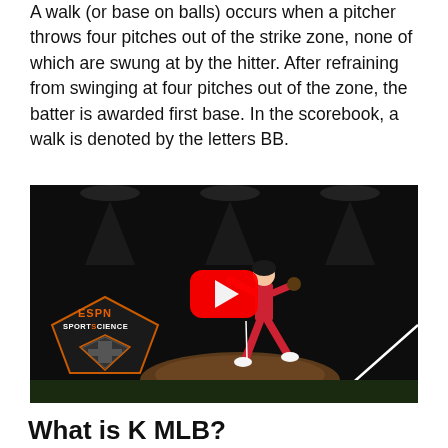A walk (or base on balls) occurs when a pitcher throws four pitches out of the strike zone, none of which are swung at by the hitter. After refraining from swinging at four pitches out of the zone, the batter is awarded first base. In the scorebook, a walk is denoted by the letters BB.
[Figure (screenshot): YouTube video thumbnail showing a baseball pitcher in motion on a dark field, with ESPN Sport Science logo in bottom left and a red YouTube play button in the center.]
What is K MLB?